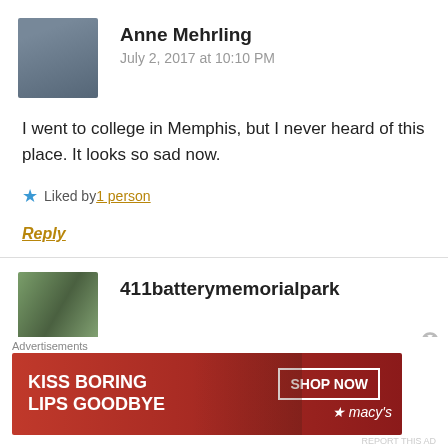[Figure (photo): Avatar photo of Anne Mehrling, elderly woman with white hair]
Anne Mehrling
July 2, 2017 at 10:10 PM
I went to college in Memphis, but I never heard of this place. It looks so sad now.
Liked by 1 person
Reply
[Figure (photo): Avatar photo for 411batterymemorialpark account, shows trees/foliage]
411batterymemorialpark
Advertisements
[Figure (photo): Macy's advertisement banner: KISS BORING LIPS GOODBYE with SHOP NOW button and Macy's star logo]